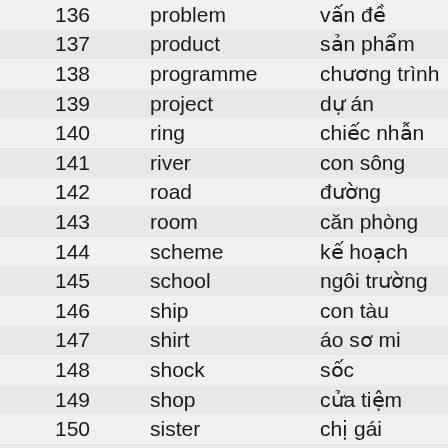| # | English | Vietnamese |
| --- | --- | --- |
| 136 | problem | vấn đề |
| 137 | product | sản phẩm |
| 138 | programme | chương trình |
| 139 | project | dự án |
| 140 | ring | chiếc nhẫn |
| 141 | river | con sông |
| 142 | road | đường |
| 143 | room | căn phòng |
| 144 | scheme | kế hoạch |
| 145 | school | ngôi trường |
| 146 | ship | con tàu |
| 147 | shirt | áo sơ mi |
| 148 | shock | sốc |
| 149 | shop | cửa tiệm |
| 150 | sister | chị gái |
| 151 | ... | ... |